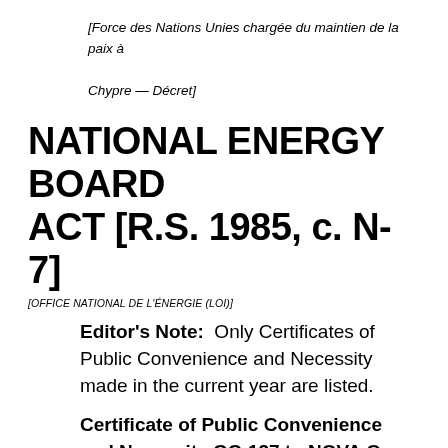[Force des Nations Unies chargée du maintien de la paix à Chypre — Décret]
NATIONAL ENERGY BOARD ACT [R.S. 1985, c. N-7]
[OFFICE NATIONAL DE L'ÉNERGIE (LOI)]
Editor's Note: Only Certificates of Public Convenience and Necessity made in the current year are listed.
Certificate of Public Convenience and Necessity GC-127 to NOVA Gas Transmission Ltd., in respect of the construction and operation of